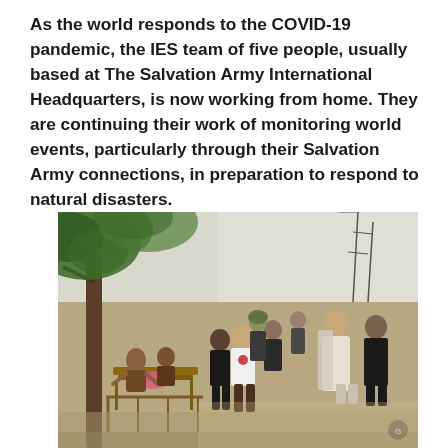As the world responds to the COVID-19 pandemic, the IES team of five people, usually based at The Salvation Army International Headquarters, is now working from home. They are continuing their work of monitoring world events, particularly through their Salvation Army connections, in preparation to respond to natural disasters.
[Figure (photo): Outdoor scene showing a group of people gathered under a large tree in an arid, dusty environment. One person in the center wears a white vest with a red logo (Salvation Army). Several people are seated on a wooden structure/charpoy on the left, while others stand. The background shows open dry land and power lines. The scene appears to depict disaster relief or community outreach work.]